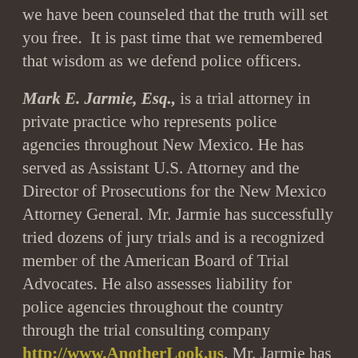we have been counseled that the truth will set you free. It is past time that we remembered that wisdom as we defend police officers.
Mark E. Jarmie, Esq., is a trial attorney in private practice who represents police agencies throughout New Mexico. He has served as Assistant U.S. Attorney and the Director of Prosecutions for the New Mexico Attorney General. Mr. Jarmie has successfully tried dozens of jury trials and is a recognized member of the American Board of Trial Advocates. He also assesses liability for police agencies throughout the country through the trial consulting company http://www.AnotherLook.us. Mr. Jarmie has been named a Southwest Super Lawyer, a distinction that places him among the top five percent of lawyers practicing in defending civil litigation in the southwest.